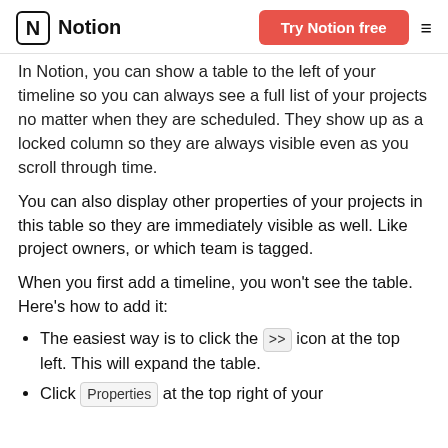Notion | Try Notion free
In Notion, you can show a table to the left of your timeline so you can always see a full list of your projects no matter when they are scheduled. They show up as a locked column so they are always visible even as you scroll through time.
You can also display other properties of your projects in this table so they are immediately visible as well. Like project owners, or which team is tagged.
When you first add a timeline, you won't see the table. Here's how to add it:
The easiest way is to click the >> icon at the top left. This will expand the table.
Click Properties at the top right of your